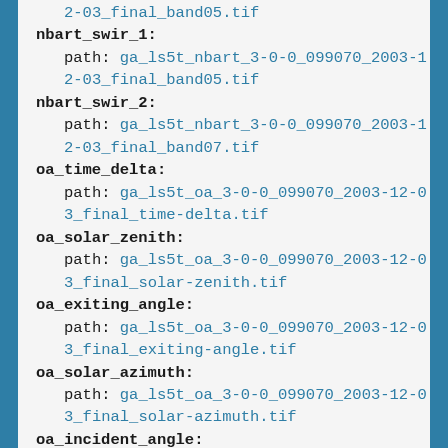2-03_final_band05.tif (truncated top)
nbart_swir_1:
  path: ga_ls5t_nbart_3-0-0_099070_2003-12-03_final_band05.tif
nbart_swir_2:
  path: ga_ls5t_nbart_3-0-0_099070_2003-12-03_final_band07.tif
oa_time_delta:
  path: ga_ls5t_oa_3-0-0_099070_2003-12-03_final_time-delta.tif
oa_solar_zenith:
  path: ga_ls5t_oa_3-0-0_099070_2003-12-03_final_solar-zenith.tif
oa_exiting_angle:
  path: ga_ls5t_oa_3-0-0_099070_2003-12-03_final_exiting-angle.tif
oa_solar_azimuth:
  path: ga_ls5t_oa_3-0-0_099070_2003-12-03_final_solar-azimuth.tif
oa_incident_angle: